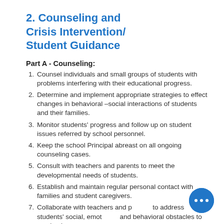2. Counseling and Crisis Intervention/ Student Guidance
Part A - Counseling:
Counsel individuals and small groups of students with problems interfering with their educational progress.
Determine and implement appropriate strategies to effect changes in behavioral –social interactions of students and their families.
Monitor students' progress and follow up on student issues referred by school personnel.
Keep the school Principal abreast on all ongoing counseling cases.
Consult with teachers and parents to meet the developmental needs of students.
Establish and maintain regular personal contact with families and student caregivers.
Collaborate with teachers and p… to address students' social, emoti… and behavioral obstacles to academic